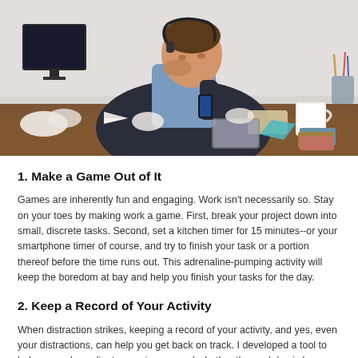[Figure (photo): A stressed businessperson in a suit sitting at a cluttered desk, holding a phone and resting their head on their hand, with crumpled papers, a coffee mug, food wrapper, and tablet on the desk.]
1. Make a Game Out of It
Games are inherently fun and engaging. Work isn't necessarily so. Stay on your toes by making work a game. First, break your project down into small, discrete tasks. Second, set a kitchen timer for 15 minutes--or your smartphone timer of course, and try to finish your task or a portion thereof before the time runs out. This adrenaline-pumping activity will keep the boredom at bay and help you finish your tasks for the day.
2. Keep a Record of Your Activity
When distraction strikes, keeping a record of your activity, and yes, even your distractions, can help you get back on track. I developed a tool to help me and my clients remain engaged whether the workday is long and repetitive, or hectic